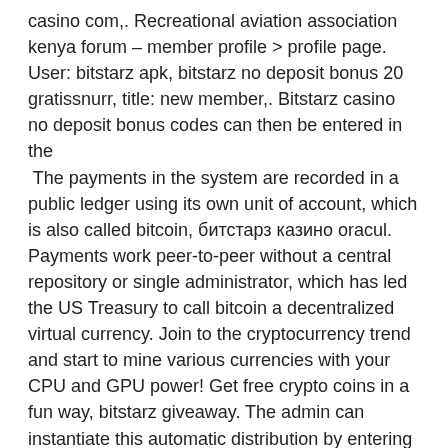casino com,. Recreational aviation association kenya forum – member profile &gt; profile page. User: bitstarz apk, bitstarz no deposit bonus 20 gratissnurr, title: new member,. Bitstarz casino no deposit bonus codes can then be entered in the  The payments in the system are recorded in a public ledger using its own unit of account, which is also called bitcoin, битстарз казино oracul. Payments work peer-to-peer without a central repository or single administrator, which has led the US Treasury to call bitcoin a decentralized virtual currency. Join to the cryptocurrency trend and start to mine various currencies with your CPU and GPU power! Get free crypto coins in a fun way, bitstarz giveaway. The admin can instantiate this automatic distribution by entering the DISTRIBUTE_SECRET environment variable into the site's address input field, bitstarz deposit options. After you've waited 1